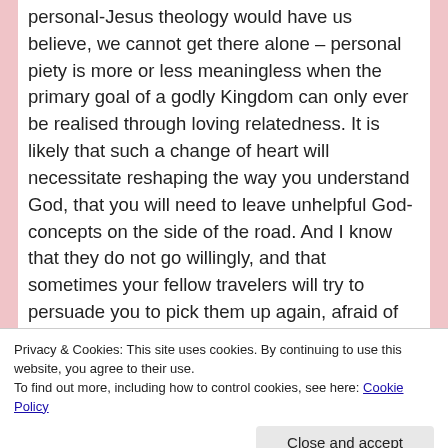personal-Jesus theology would have us believe, we cannot get there alone – personal piety is more or less meaningless when the primary goal of a godly Kingdom can only ever be realised through loving relatedness. It is likely that such a change of heart will necessitate reshaping the way you understand God, that you will need to leave unhelpful God-concepts on the side of the road. And I know that they do not go willingly, and that sometimes your fellow travelers will try to persuade you to pick them up again, afraid of how those God concepts might react to separation. I know that when you have carried them for so long, it can feel unnatural
Privacy & Cookies: This site uses cookies. By continuing to use this website, you agree to their use.
To find out more, including how to control cookies, see here: Cookie Policy